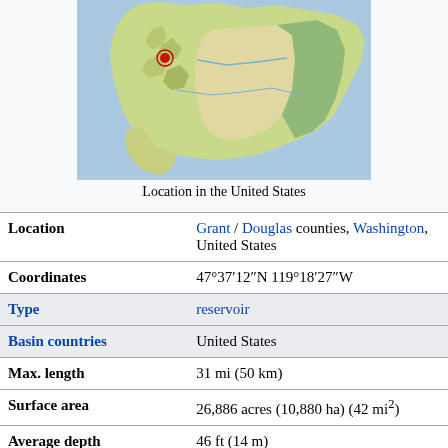[Figure (map): Map showing location in the United States, topographic relief map of North America with the location highlighted]
Location in the United States
| Property | Value |
| --- | --- |
| Location | Grant / Douglas counties, Washington, United States |
| Coordinates | 47°37′12″N 119°18′27″W |
| Type | reservoir |
| Basin countries | United States |
| Max. length | 31 mi (50 km) |
| Surface area | 26,886 acres (10,880 ha) (42 mi²) |
| Average depth | 46 ft (14 m) |
| Max. depth | 177 ft (54 m) |
| Water volume | 1,237,000 acre feet (1.526 × 10⁹ m³) |
| Shore length¹ | 135 mi (217 km) |